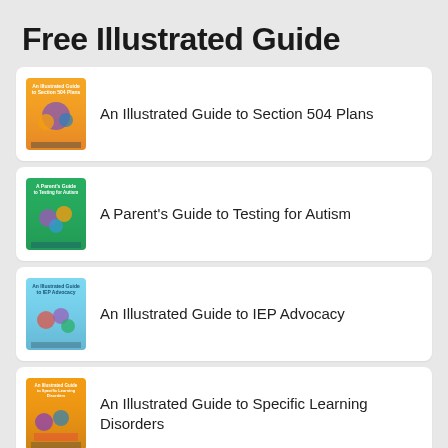Free Illustrated Guide
An Illustrated Guide to Section 504 Plans
A Parent's Guide to Testing for Autism
An Illustrated Guide to IEP Advocacy
An Illustrated Guide to Specific Learning Disorders